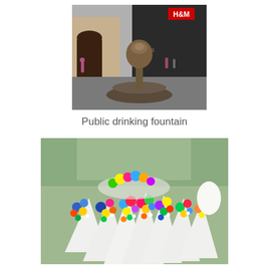[Figure (photo): A bronze public drinking fountain on a city street with a decorative globe-shaped top and wide basin, with storefronts including H&M visible in the background and graffiti on a wall]
Public drinking fountain
[Figure (photo): Multiple colorful bouquets of flowers wrapped in white cone-shaped paper, displayed together in a street market or flower shop, showing vivid blue, yellow, pink, green, orange and red flowers]